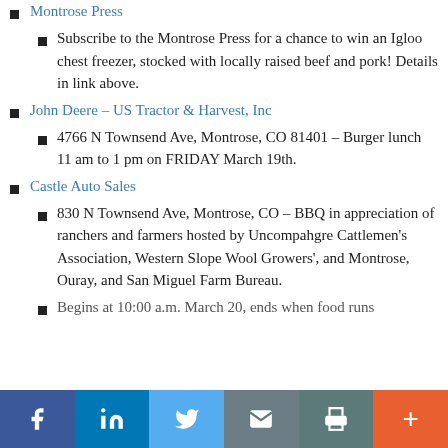Montrose Press
Subscribe to the Montrose Press for a chance to win an Igloo chest freezer, stocked with locally raised beef and pork! Details in link above.
John Deere – US Tractor & Harvest, Inc
4766 N Townsend Ave, Montrose, CO 81401 – Burger lunch 11 am to 1 pm on FRIDAY March 19th.
Castle Auto Sales
830 N Townsend Ave, Montrose, CO – BBQ in appreciation of ranchers and farmers hosted by Uncompahgre Cattlemen's Association, Western Slope Wool Growers', and Montrose, Ouray, and San Miguel Farm Bureau.
Begins at 10:00 a.m. March 20, ends when food runs
f  in  (twitter)  (email)  (print)  +